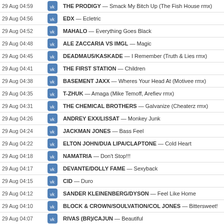| Time |  | Track |
| --- | --- | --- |
| 29 Aug 04:59 | vk | THE PRODIGY — Smack My Bitch Up (The Fish House rmx) |
| 29 Aug 04:56 | vk | EDX — Ecletric |
| 29 Aug 04:52 | vk | MAHALO — Everything Goes Black |
| 29 Aug 04:48 | vk | ALE ZACCARIA VS IMGL — Magic |
| 29 Aug 04:45 | vk | DEADMAU5/KASKADE — I Remember (Truth & Lies rmx) |
| 29 Aug 04:41 | vk | THE FIRST STATION — Children |
| 29 Aug 04:38 | vk | BASEMENT JAXX — Wheres Your Head At (Motivee rmx) |
| 29 Aug 04:35 | vk | T-ZHUK — Amaga (Mike Temoff, Arefiev rmx) |
| 29 Aug 04:31 | vk | THE CHEMICAL BROTHERS — Galvanize (Cheaterz rmx) |
| 29 Aug 04:26 | vk | ANDREY EXX/LISSAT — Monkey Junk |
| 29 Aug 04:24 | vk | JACKMAN JONES — Bass Feel |
| 29 Aug 04:22 | vk | ELTON JOHN/DUA LIPA/CLAPTONE — Cold Heart |
| 29 Aug 04:18 | vk | NAMATRIA — Don't Stop!!! |
| 29 Aug 04:17 | vk | DEVANTE/DOLLY FAME — Sexyback |
| 29 Aug 04:15 | vk | CID — Duro |
| 29 Aug 04:12 | vk | SANDER KLEINENBERG/DYSON — Feel Like Home |
| 29 Aug 04:10 | vk | BLOCK & CROWN/SOULVATION/COL JONES — Bittersweet! |
| 29 Aug 04:07 | vk | RIVAS (BR)/CAJUN — Beautiful |
| 29 Aug 04:03 | vk | ANDREA RAFFA — Bring It Down (MDL Mare rmx) |
| 29 Aug 03:59 | vk | MAXINNE/LAUREN L'AIMANT — Tell Me Something |
| 29 Aug 03:56 | vk | ROBIN SCHULZ/HARLE — All This Love (Offaiah rmx) |
| 29 Aug 03:54 | vk | NERVO — Basement |
1  2  3  Все